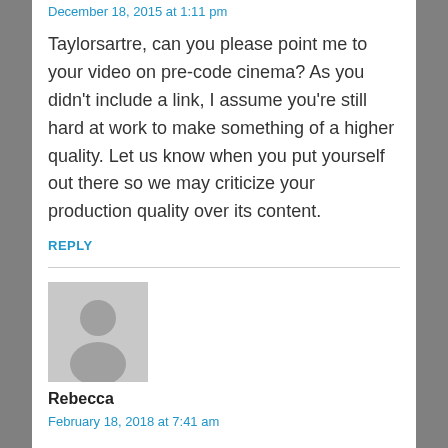December 18, 2015 at 1:11 pm
Taylorsartre, can you please point me to your video on pre-code cinema? As you didn't include a link, I assume you're still hard at work to make something of a higher quality. Let us know when you put yourself out there so we may criticize your production quality over its content.
REPLY
[Figure (illustration): Generic user avatar placeholder image — grey square with a white silhouette of a person]
Rebecca
February 18, 2018 at 7:41 am
I thought the same thing!
REPLY